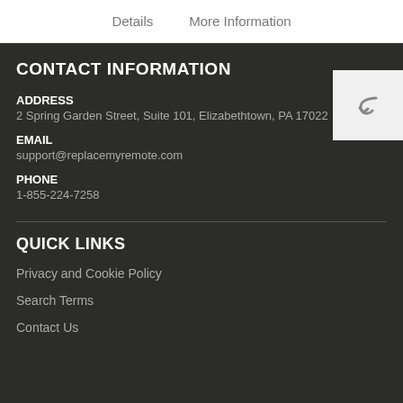Details   More Information
CONTACT INFORMATION
ADDRESS
2 Spring Garden Street, Suite 101, Elizabethtown, PA 17022
EMAIL
support@replacemyremote.com
PHONE
1-855-224-7258
QUICK LINKS
Privacy and Cookie Policy
Search Terms
Contact Us